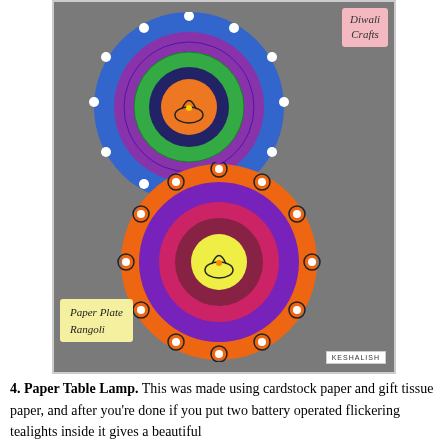[Figure (photo): Photo of two paper plate rangoli crafts on a grey background. The top one is blue with green, purple, and orange circles inside, featuring a diya symbol in the center. The bottom one is orange with purple, pink and red circles inside, featuring a yellow diya symbol. Both have white bead decorations around the edges. A pink label reads 'Diwali Crafts' in the top-right corner. A yellow label reads 'Paper Plate Rangoli' in the bottom-left corner. A white box with 'KESHALISH' appears in the bottom-right corner.]
4. Paper Table Lamp. This was made using cardstock paper and gift tissue paper, and after you're done if you put two battery operated flickering tealights inside it gives a beautiful